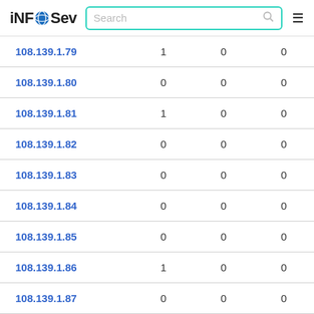iNFOSev  Search  ≡
| 108.139.1.79 | 1 | 0 | 0 |
| 108.139.1.80 | 0 | 0 | 0 |
| 108.139.1.81 | 1 | 0 | 0 |
| 108.139.1.82 | 0 | 0 | 0 |
| 108.139.1.83 | 0 | 0 | 0 |
| 108.139.1.84 | 0 | 0 | 0 |
| 108.139.1.85 | 0 | 0 | 0 |
| 108.139.1.86 | 1 | 0 | 0 |
| 108.139.1.87 | 0 | 0 | 0 |
| 108.139.1.8? | 0 | 0 | 0 |